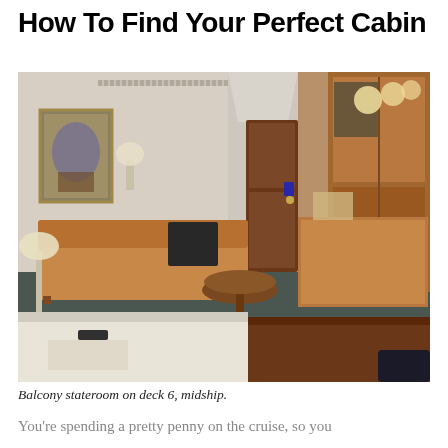How To Find Your Perfect Cabin
[Figure (photo): Interior photo of a cruise ship balcony stateroom on deck 6, midship. Shows a sofa, small round table, cabin door, wooden wardrobe/dresser, and a bed in the foreground. Lamps visible on both sides.]
Balcony stateroom on deck 6, midship.
You're spending a pretty penny on the cruise, so you